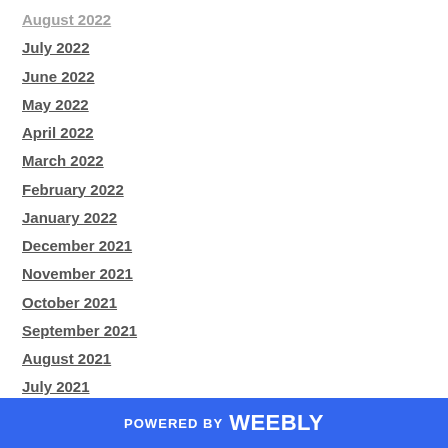August 2022
July 2022
June 2022
May 2022
April 2022
March 2022
February 2022
January 2022
December 2021
November 2021
October 2021
September 2021
August 2021
July 2021
June 2021
May 2021
POWERED BY weebly